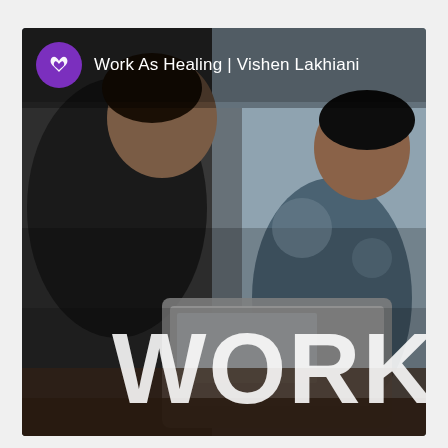[Figure (photo): A thumbnail/cover image for a podcast or video titled 'Work As Healing | Vishen Lakhiani'. Shows two people collaborating over a laptop in a casual office environment. A purple circular logo with a white bird/wing icon is in the upper left, next to the title text in white. Large bold white text 'WORK' overlays the bottom portion of the image.]